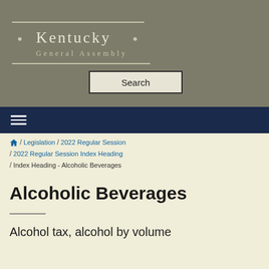Kentucky General Assembly
Search
/ Legislation / 2022 Regular Session / 2022 Regular Session Index Heading / Index Heading - Alcoholic Beverages
Alcoholic Beverages
Alcohol tax, alcohol by volume